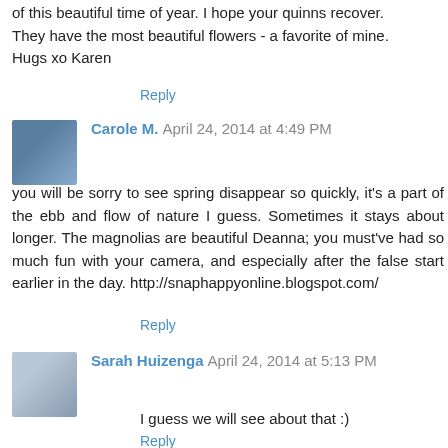of this beautiful time of year. I hope your quinns recover. They have the most beautiful flowers - a favorite of mine. Hugs xo Karen
Reply
Carole M. April 24, 2014 at 4:49 PM
you will be sorry to see spring disappear so quickly, it's a part of the ebb and flow of nature I guess. Sometimes it stays about longer. The magnolias are beautiful Deanna; you must've had so much fun with your camera, and especially after the false start earlier in the day. http://snaphappyonline.blogspot.com/
Reply
Sarah Huizenga April 24, 2014 at 5:13 PM
I guess we will see about that :)
Reply